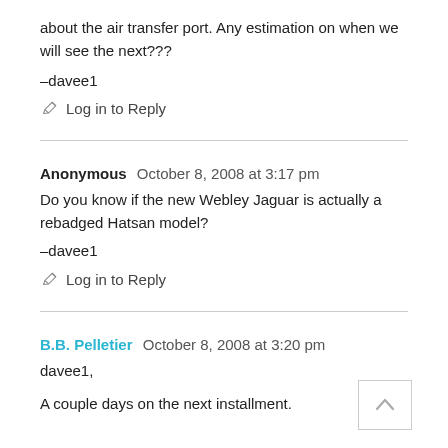about the air transfer port. Any estimation on when we will see the next???
–davee1
Log in to Reply
Anonymous   October 8, 2008 at 3:17 pm
Do you know if the new Webley Jaguar is actually a rebadged Hatsan model?
–davee1
Log in to Reply
B.B. Pelletier   October 8, 2008 at 3:20 pm
davee1,
A couple days on the next installment.